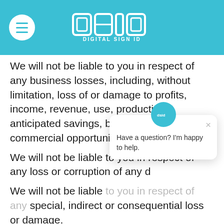DIGITAL SIGN ID
We will not be liable to you in respect of any business losses, including, without limitation, loss of or damage to profits, income, revenue, use, production, anticipated savings, business, contracts, commercial opportunities or goodwill.
We will not be liable to you in respect of any loss or corruption of any d[ata]
We will not be liable [to you in respect of any] special, indirect or consequential loss or damage.
You accept that we have an interest in limi[ting] the personal liability of our officers and